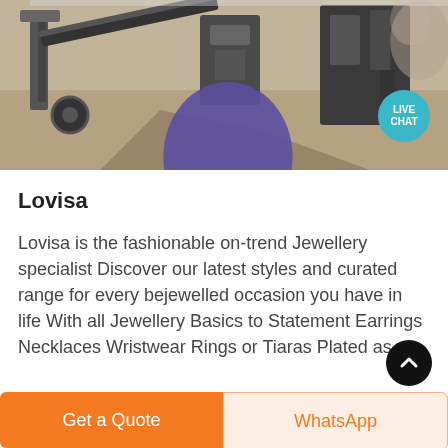[Figure (photo): Outdoor machinery/mining equipment on dusty terrain, photographed from ground level. A teal 'LIVE CHAT' bubble with a purple speech bubble tail is overlaid in the top-right area of the image.]
Lovisa
Lovisa is the fashionable on-trend Jewellery specialist Discover our latest styles and curated range for every bejewelled occasion you have in life With all Jewellery Basics to Statement Earrings Necklaces Wristwear Rings or Tiaras Plated as w...
Get a Quote
WhatsApp